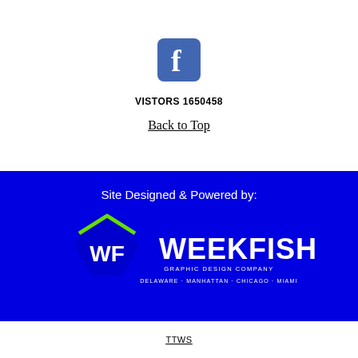[Figure (logo): Facebook logo icon — blue rounded square with white 'f' letter]
VISTORS 1650458
Back to Top
Site Designed & Powered by:
[Figure (logo): Weekfish Graphic Design Company logo — white WF icon inside a blue hexagon with green roof lines, next to white WEEKFISH text. Tagline: GRAPHIC DESIGN COMPANY. Locations: DELAWARE · MANHATTAN · CHICAGO · MIAMI]
TTWS